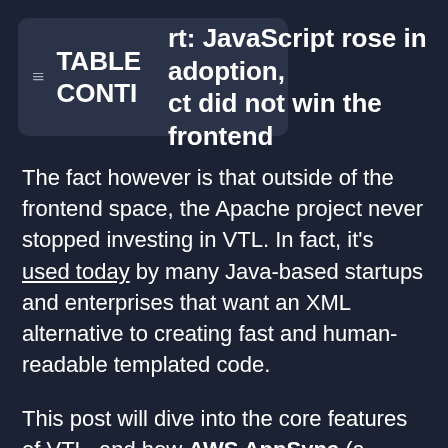TABLE OF CONTENTS rt: JavaScript rose in adoption, ct did not win the frontend
The fact however is that outside of the frontend space, the Apache project never stopped investing in VTL. In fact, it's used today by many Java-based startups and enterprises that want an XML alternative to creating fast and human-readable templated code.
This post will dive into the core features of VTL, and how AWS AppSync (a managed GraphQL service) uses it to provide low-latency responses while handling millions of connections.